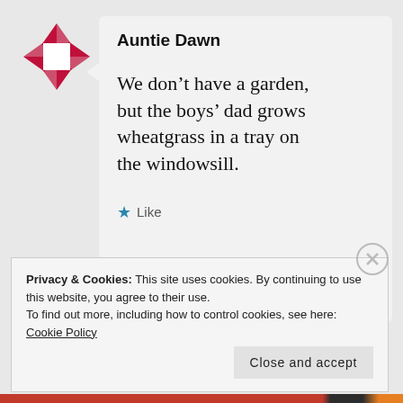[Figure (logo): Decorative star/pinwheel logo made of pink/red triangles arranged in a square pattern]
Auntie Dawn
We don't have a garden, but the boys' dad grows wheatgrass in a tray on the windowsill.
★ Like
Privacy & Cookies: This site uses cookies. By continuing to use this website, you agree to their use.
To find out more, including how to control cookies, see here: Cookie Policy
Close and accept